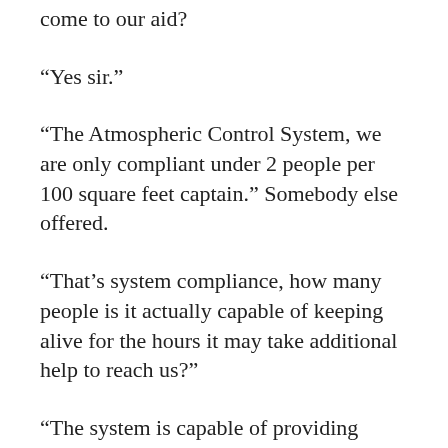come to our aid?
“Yes sir.”
“The Atmospheric Control System, we are only compliant under 2 people per 100 square feet captain.” Somebody else offered.
“That’s system compliance, how many people is it actually capable of keeping alive for the hours it may take additional help to reach us?”
“The system is capable of providing enough oxygen for 2000 average humans for a week. At our present reserves.”
“So, what does that mean if we add an additional 1200 people?”